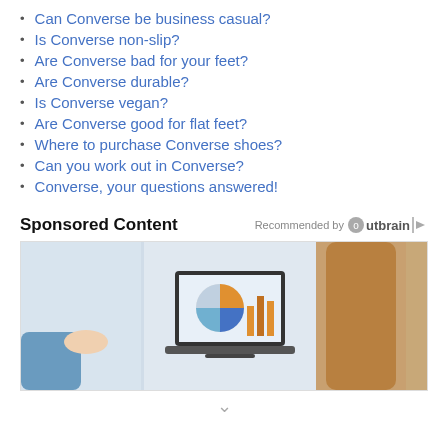Can Converse be business casual?
Is Converse non-slip?
Are Converse bad for your feet?
Are Converse durable?
Is Converse vegan?
Are Converse good for flat feet?
Where to purchase Converse shoes?
Can you work out in Converse?
Converse, your questions answered!
Sponsored Content   Recommended by Outbrain
[Figure (photo): Two people at a desk with a laptop showing charts and graphs, one person pointing at the screen]